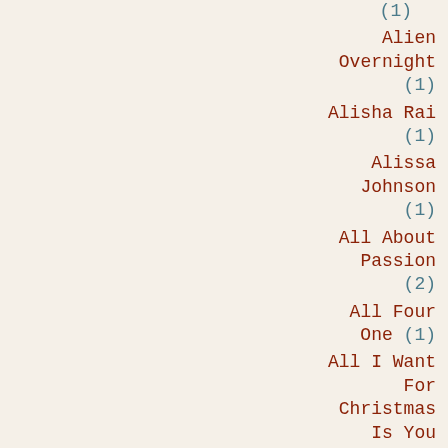(1)
Alien Overnight (1)
Alisha Rai (1)
Alissa Johnson (1)
All About Passion (2)
All Four One (1)
All I Want For Christmas Is You (2)